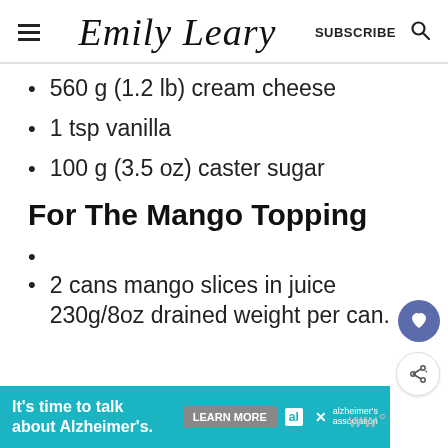Emily Leary | SUBSCRIBE
560 g (1.2 lb) cream cheese
1 tsp vanilla
100 g (3.5 oz) caster sugar
For The Mango Topping
2 cans mango slices in juice 230g/8oz drained weight per can.